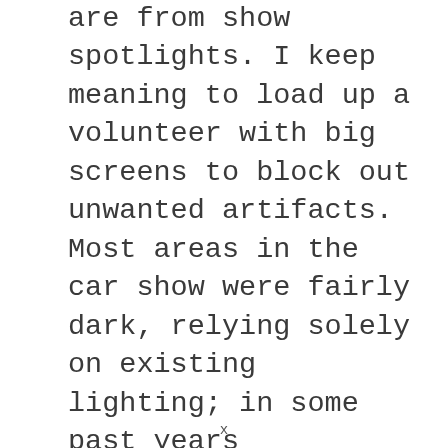are from show spotlights. I keep meaning to load up a volunteer with big screens to block out unwanted artifacts. Most areas in the car show were fairly dark, relying solely on existing lighting; in some past years automakers brought in their own supplemental lights, too.
x